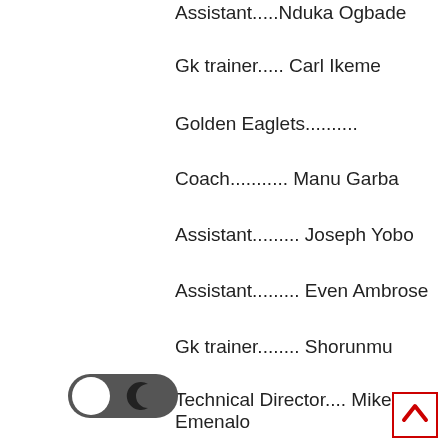Assistant.....Nduka Ogbade
Gk trainer..... Carl Ikeme
Golden Eaglets..........
Coach........... Manu Garba
Assistant......... Joseph Yobo
Assistant......... Even Ambrose
Gk trainer........ Shorunmu
Technical Director.... Mike Emenalo
Asst Tech Director... Seyi Olofinjana
Technical Study Group....
Sunday Oliseh
Mutiu Adepoju
King Kanu Nwankwo
Mikel
ech department ....
Mumuni Alao – media
Chuckujeku – referees